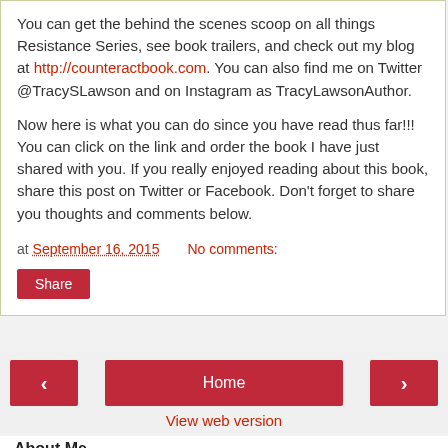You can get the behind the scenes scoop on all things Resistance Series, see book trailers, and check out my blog at http://counteractbook.com. You can also find me on Twitter @TracySLawson and on Instagram as TracyLawsonAuthor.
Now here is what you can do since you have read thus far!!! You can click on the link and order the book I have just shared with you. If you really enjoyed reading about this book, share this post on Twitter or Facebook. Don't forget to share you thoughts and comments below.
at September 16, 2015   No comments:
Share
Home
View web version
About Me
Dr. Cassandra Hawkins